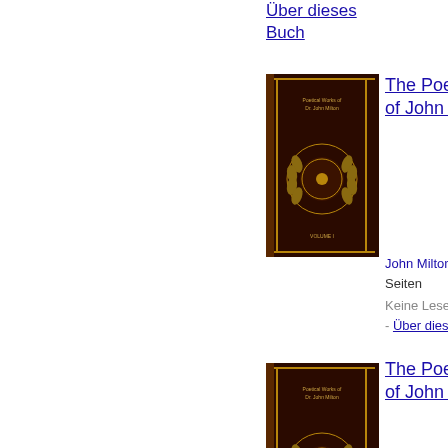Über dieses Buch
[Figure (photo): Book cover of The Poetical Works of John Milton, dark brown/black cover with gold laurel wreath emblem]
The Poetical Works of John Milton
John Milton - 2015 - 644 Seiten
Keine Leseprobe verfügbar - Über dieses Buch
[Figure (photo): Book cover of The Poetical Works of John Milton, dark brown/black cover with gold laurel wreath emblem]
The Poetical Works of John Milton
John Milton - 2015 - 644 Seiten
Keine Leseprobe verfügbar - Über dieses Buch